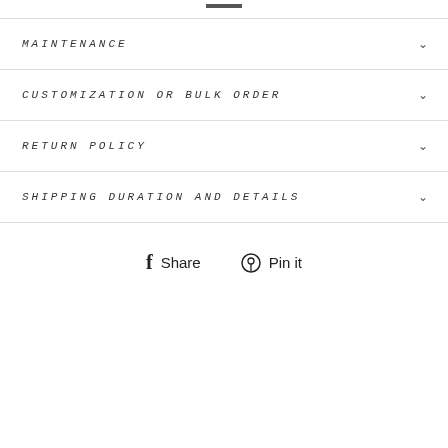MAINTENANCE
CUSTOMIZATION OR BULK ORDER
RETURN POLICY
SHIPPING DURATION AND DETAILS
Share   Pin it